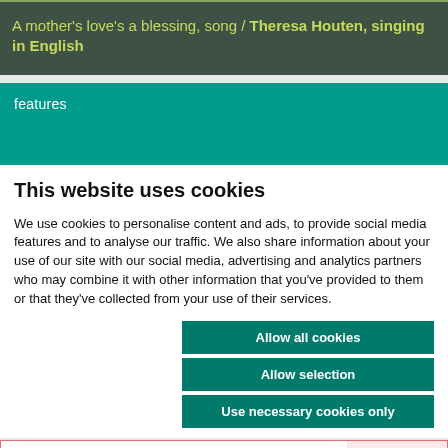A mother's love's a blessing, song / Theresa Houten, singing in English
features
This website uses cookies
We use cookies to personalise content and ads, to provide social media features and to analyse our traffic. We also share information about your use of our site with our social media, advertising and analytics partners who may combine it with other information that you've provided to them or that they've collected from your use of their services.
Allow all cookies
Allow selection
Use necessary cookies only
Necessary   Preferences   Statistics   Marketing   Show details